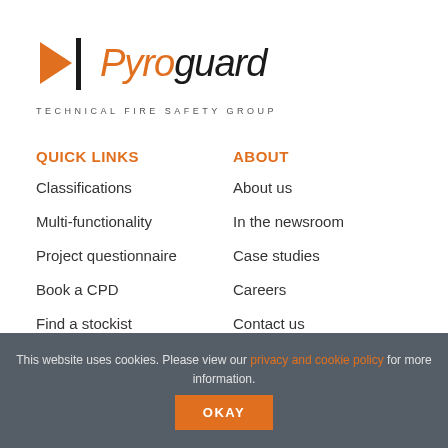[Figure (logo): Pyroguard logo with orange arrow/bar symbol and italic text 'Pyroguard']
TECHNICAL FIRE SAFETY GROUP
QUICK LINKS
ABOUT
Classifications
About us
Multi-functionality
In the newsroom
Project questionnaire
Case studies
Book a CPD
Careers
Find a stockist
Contact us
This website uses cookies. Please view our privacy and cookie policy for more information.